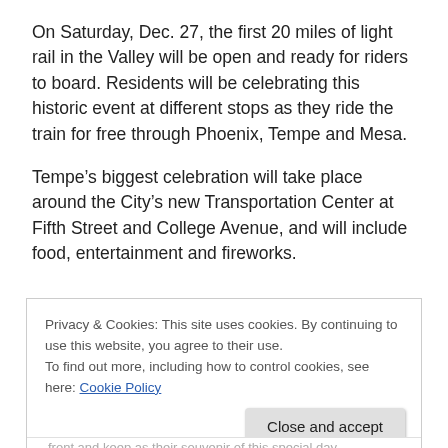On Saturday, Dec. 27, the first 20 miles of light rail in the Valley will be open and ready for riders to board. Residents will be celebrating this historic event at different stops as they ride the train for free through Phoenix, Tempe and Mesa.
Tempe's biggest celebration will take place around the City's new Transportation Center at Fifth Street and College Avenue, and will include food, entertainment and fireworks.
Privacy & Cookies: This site uses cookies. By continuing to use this website, you agree to their use.
To find out more, including how to control cookies, see here: Cookie Policy
Close and accept